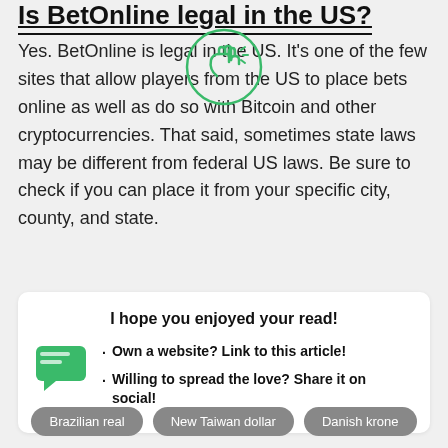Is BetOnline legal in the US?
Yes. BetOnline is legal in the US. It's one of the few sites that allow players from the US to place bets online as well as do so with Bitcoin and other cryptocurrencies. That said, sometimes state laws may be different from federal US laws. Be sure to check if you can place it from your specific city, county, and state.
I hope you enjoyed your read!
Own a website? Link to this article!
Willing to spread the love? Share it on social!
Brazilian real | New Taiwan dollar | Danish krone